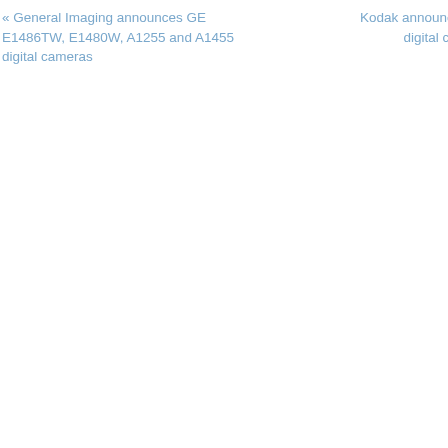« General Imaging announces GE E1486TW, E1480W, A1255 and A1455 digital cameras
Kodak announces digital cam